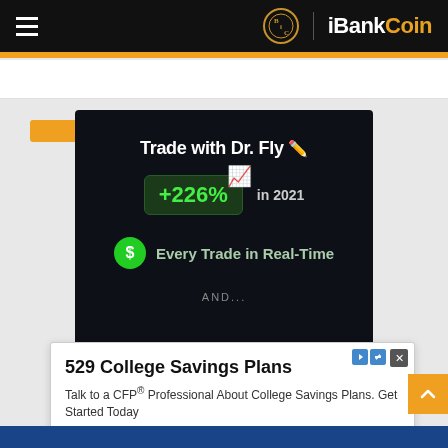iBankCoin
[Figure (infographic): Dark-background promotional banner: 'Trade with Dr. Fly' with +226% in 2021, Every Trade in Real-Time, AND...]
[Figure (infographic): Advertisement popup: 529 College Savings Plans - Talk to a CFP® Professional About College Savings Plans. Get Started Today. letsmakeaplan.org. Learn More button.]